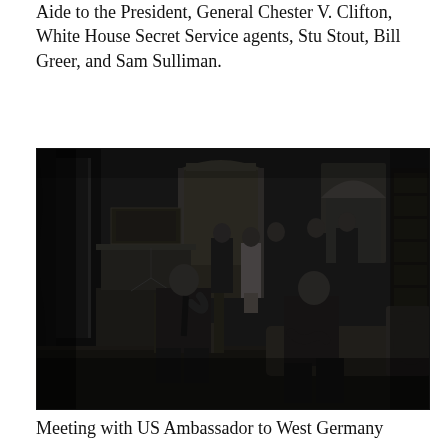Aide to the President, General Chester V. Clifton, White House Secret Service agents, Stu Stout, Bill Greer, and Sam Sulliman.
[Figure (photo): Black and white photograph of President Kennedy seated in a chair in a formal White House room, speaking with a man on a couch. Several other people stand in the background near doorways and bookshelves.]
Meeting with US Ambassador to West Germany